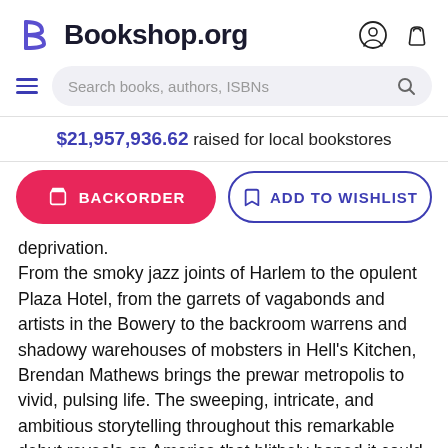Bookshop.org
$21,957,936.62 raised for local bookstores
BACKORDER | ADD TO WISHLIST
deprivation.
From the smoky jazz joints of Harlem to the opulent Plaza Hotel, from the garrets of vagabonds and artists in the Bowery to the backroom warrens and shadowy warehouses of mobsters in Hell's Kitchen, Brendan Mathews brings the prewar metropolis to vivid, pulsing life. The sweeping, intricate, and ambitious storytelling throughout this remarkable debut reveals an America that blithely hoped it could avoid another catastrophic war and focus instead on the promise of the World's Fair